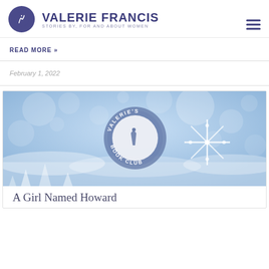VALERIE FRANCIS — STORIES BY, FOR AND ABOUT WOMEN
READ MORE »
February 1, 2022
[Figure (illustration): Winter-themed banner image with bokeh blue background, snowflakes, and a circular badge reading Valerie's Book Club with a pen logo in the center]
A Girl Named Howard